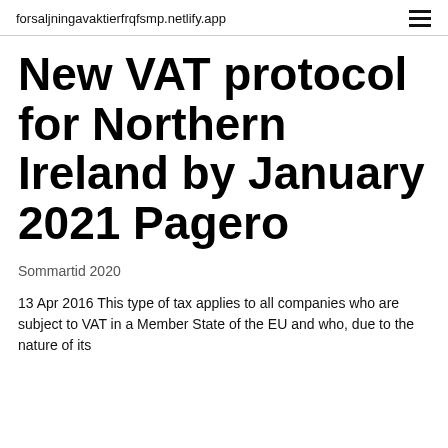forsaljningavaktierfrqfsmp.netlify.app
New VAT protocol for Northern Ireland by January 2021 Pagero
Sommartid 2020
13 Apr 2016 This type of tax applies to all companies who are subject to VAT in a Member State of the EU and who, due to the nature of its